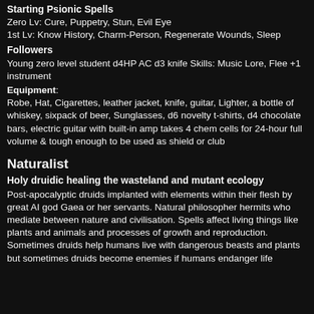Starting Psionic Spells
Zero Lv: Cure, Puppetry, Stun, Evil Eye
1st Lv: Know History, Charm-Person, Regenerate Wounds, Sleep
Followers
Young zero level student d4HP AC d3 knife Skills: Music Lore, Flee +1 instrument
Equipment: Robe, Hat, Cigarettes, leather jacket, knife, guitar, Lighter, a bottle of whiskey, sixpack of beer, Sunglasses, d6 novelty t-shirts, d4 chocolate bars, electric guitar with built-in amp takes 4 chem cells for 24-hour full volume & tough enough to be used as shield or club
Naturalist
Holy druidic healing the wasteland and mutant ecology
Post-apocalyptic druids implanted with elements within their flesh by great AI god Gaea or her servants. Natural philosopher hermits who mediate between nature and civilisation. Spells affect living things like plants and animals and processes of growth and reproduction. Sometimes druids help humans live with dangerous beasts and plants but sometimes druids become enemies if humans endanger life